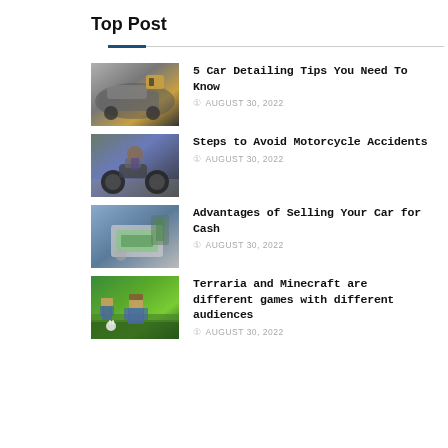Top Post
5 Car Detailing Tips You Need To Know
Steps to Avoid Motorcycle Accidents
Advantages of Selling Your Car for Cash
Terraria and Minecraft are different games with different audiences